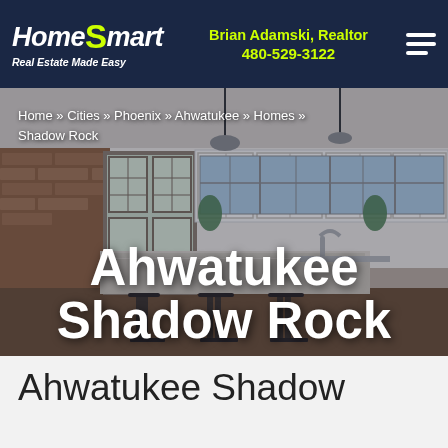HomeSmart Real Estate Made Easy | Brian Adamski, Realtor 480-529-3122
Home » Cities » Phoenix » Ahwatukee » Homes » Shadow Rock
[Figure (photo): Kitchen interior photo showing white cabinetry, granite island, bar stools, french doors, and large windows]
Ahwatukee Shadow Rock
Ahwatukee Shadow Rock